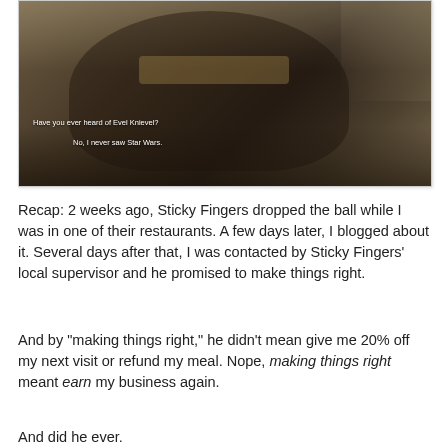[Figure (photo): Photo of a person wearing a motorcycle helmet with gold-tinted visor glasses, with two overlaid text captions: 'Have you ever heard of Evel Knievel?' and 'No, I never saw Star Wars.']
Recap: 2 weeks ago, Sticky Fingers dropped the ball while I was in one of their restaurants. A few days later, I blogged about it. Several days after that, I was contacted by Sticky Fingers' local supervisor and he promised to make things right.
And by "making things right," he didn't mean give me 20% off my next visit or refund my meal. Nope, making things right meant earn my business again.
And did he ever.